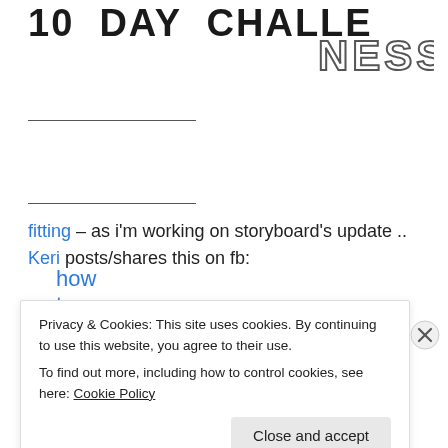[Figure (illustration): Partial cropped hand-drawn bold title text '10 DAY CHALLENGE' (only bottom portion visible) on the left, and hand-drawn outlined text 'NESS' on the top right, styled as a book or blog header graphic.]
how to be us
fitting – as i'm working on storyboard's update .. Keri posts/shares this on fb:
Privacy & Cookies: This site uses cookies. By continuing to use this website, you agree to their use.
To find out more, including how to control cookies, see here: Cookie Policy
Close and accept